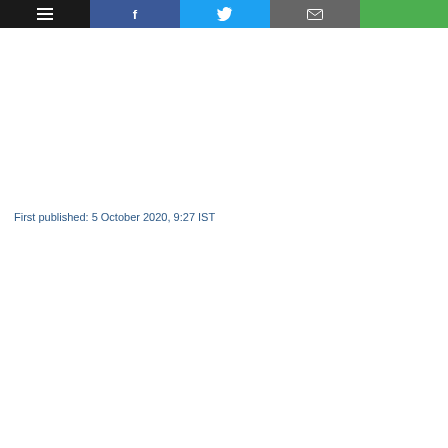Navigation bar with menu, Facebook, Twitter, Email, and share buttons
First published: 5 October 2020, 9:27 IST